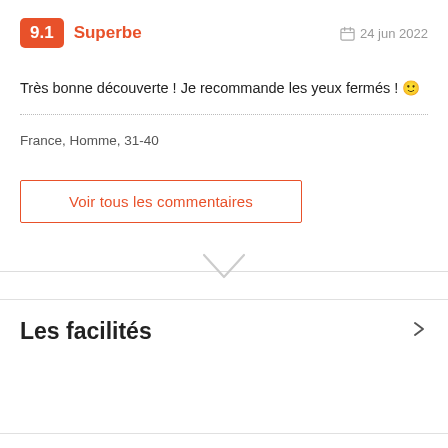9.1 Superbe  📅 24 jun 2022
Très bonne découverte ! Je recommande les yeux fermés ! 🙂
France, Homme, 31-40
Voir tous les commentaires
Les facilités